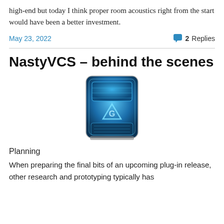high-end but today I think proper room acoustics right from the start would have been a better investment.
May 23, 2022
2 Replies
NastyVCS – behind the scenes
[Figure (illustration): A blue glowing plugin device icon with a triangle/G symbol in the center, resembling a hardware unit with display and knobs.]
Planning
When preparing the final bits of an upcoming plug-in release, other research and prototyping typically has